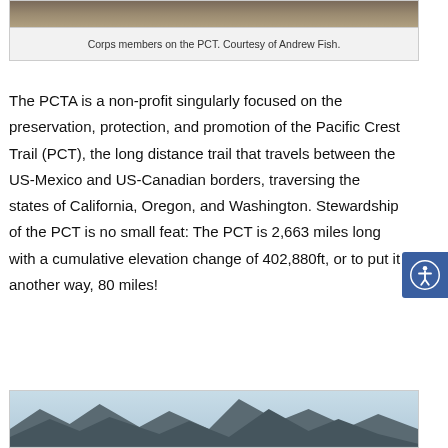[Figure (photo): Top portion of a photo showing Corps members on the PCT, partially cropped at top of page]
Corps members on the PCT. Courtesy of Andrew Fish.
The PCTA is a non-profit singularly focused on the preservation, protection, and promotion of the Pacific Crest Trail (PCT), the long distance trail that travels between the US-Mexico and US-Canadian borders, traversing the states of California, Oregon, and Washington. Stewardship of the PCT is no small feat: The PCT is 2,663 miles long with a cumulative elevation change of 402,880ft, or to put it another way, 80 miles!
[Figure (photo): Landscape photo showing mountain scenery along the PCT, partially visible at bottom of page]